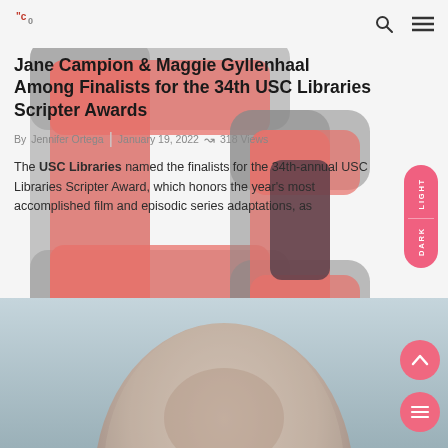CQ [logo with search and menu icons]
Jane Campion & Maggie Gyllenhaal Among Finalists for the 34th USC Libraries Scripter Awards
By Jennifer Ortega  |  January 19, 2022  ↝  318 Views
The USC Libraries named the finalists for the 34th-annual USC Libraries Scripter Award, which honors the year's most accomplished film and episodic series adaptations, as
[Figure (photo): Close-up photo of a bald person's head from behind/top, against a blue-grey background. A circular scroll-up button and a circular menu button appear on the right side over the image.]